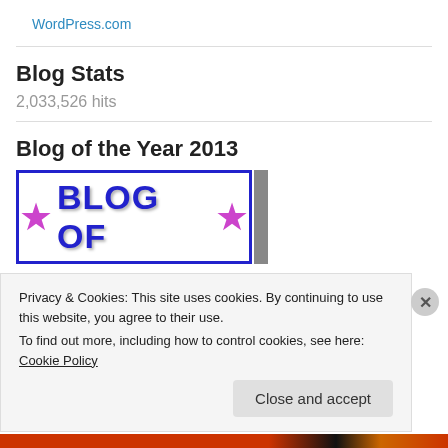WordPress.com
Blog Stats
2,033,526 hits
Blog of the Year 2013
[Figure (illustration): Blog of the Year 2013 badge with two purple stars and blue bold text reading BLOG OF on a white background with blue border]
Privacy & Cookies: This site uses cookies. By continuing to use this website, you agree to their use.
To find out more, including how to control cookies, see here: Cookie Policy